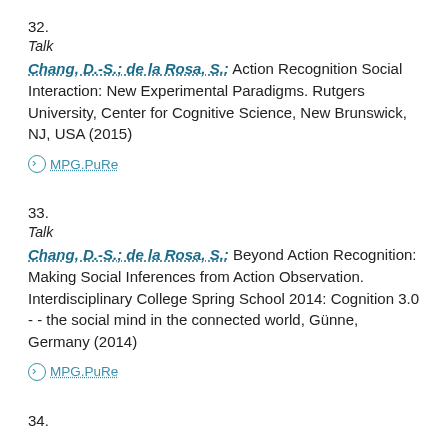32.
Talk
Chang, D.-S.; de la Rosa, S.: Action Recognition Social Interaction: New Experimental Paradigms. Rutgers University, Center for Cognitive Science, New Brunswick, NJ, USA (2015)
MPG.PuRe
33.
Talk
Chang, D.-S.; de la Rosa, S.: Beyond Action Recognition: Making Social Inferences from Action Observation. Interdisciplinary College Spring School 2014: Cognition 3.0 - - the social mind in the connected world, Günne, Germany (2014)
MPG.PuRe
34.